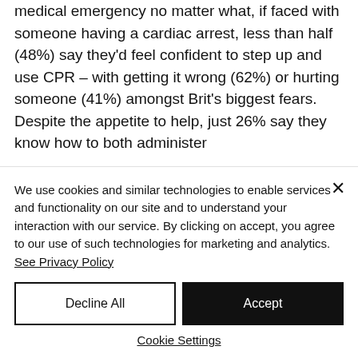medical emergency no matter what, if faced with someone having a cardiac arrest, less than half (48%) say they'd feel confident to step up and use CPR – with getting it wrong (62%) or hurting someone (41%) amongst Brit's biggest fears.
Despite the appetite to help, just 26% say they know how to both administer
We use cookies and similar technologies to enable services and functionality on our site and to understand your interaction with our service. By clicking on accept, you agree to our use of such technologies for marketing and analytics. See Privacy Policy